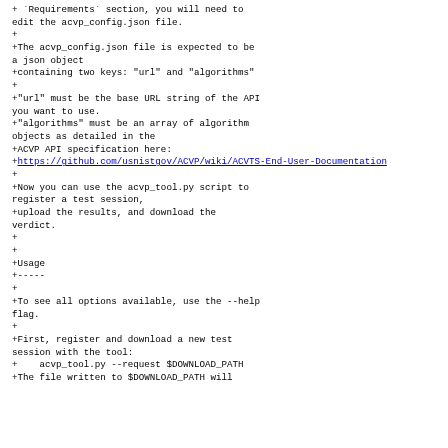+ `Requirements` section, you will need to edit the acvp_config.json file.
+
+The acvp_config.json file is expected to be a json object
+containing two keys: "url" and "algorithms"
+
+"url" must be the base URL string of the API you want to use.
+"algorithms" must be an array of algorithm objects as detailed in the
+ACVP API specification here:
+https://github.com/usnistgov/ACVP/wiki/ACVTS-End-User-Documentation
+
+Now you can use the acvp_tool.py script to register a test session,
+upload the results, and download the verdict.
+
+
+Usage
+-----
+
+To see all options available, use the --help flag.
+
+First, register and download a new test session with the tool:
+    acvp_tool.py --request $DOWNLOAD_PATH
+The file written to $DOWNLOAD_PATH will